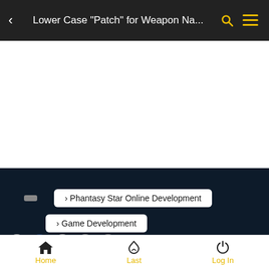Lower Case "Patch" for Weapon Na...
[Figure (screenshot): White ad banner area]
> Phantasy Star Online Development
> Game Development
Lower Case "Patch" for Weapon Name+| 2.1 Released| For Amore
Home  Last  Log In